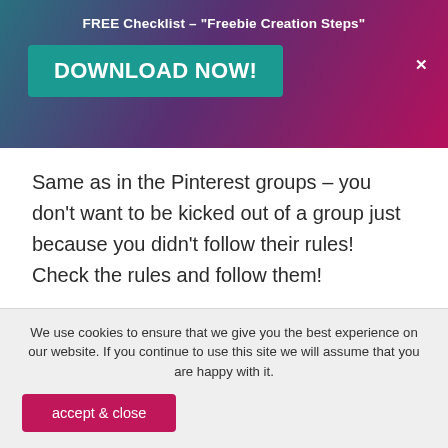FREE Checklist – "Freebie Creation Steps"
[Figure (other): Download Now button banner with teal-to-purple-to-pink gradient background, Download NOW! button in teal, and X close button]
Same as in the Pinterest groups – you don't want to be kicked out of a group just because you didn't follow their rules! Check the rules and follow them!
REMEMBER – you can gain a HUGE amount
We use cookies to ensure that we give you the best experience on our website. If you continue to use this site we will assume that you are happy with it.
accept & close